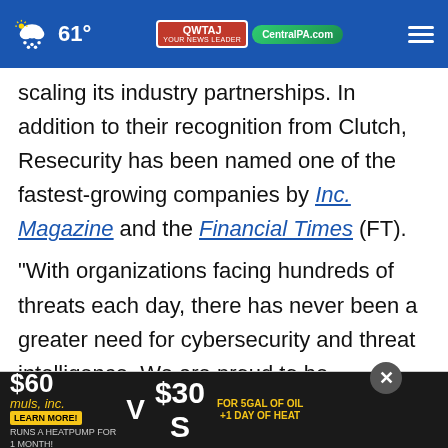61° QWTAJ CentralPA.com
scaling its industry partnerships. In addition to their recognition from Clutch, Resecurity has been named one of the fastest-growing companies by Inc. Magazine and the Financial Times (FT).

"With organizations facing hundreds of threats each day, there has never been a greater need for cybersecurity and threat intelligence. We are proud to be recognized for sustaining our rapid grow... ates our b... D
[Figure (screenshot): Advertisement banner: $60 muls, inc. LEARN MORE! RUNS A HEATPUMP FOR 1 MONTH! V$30 S FOR 5GAL OF OIL +1 DAY OF HEAT, with piggy bank images]